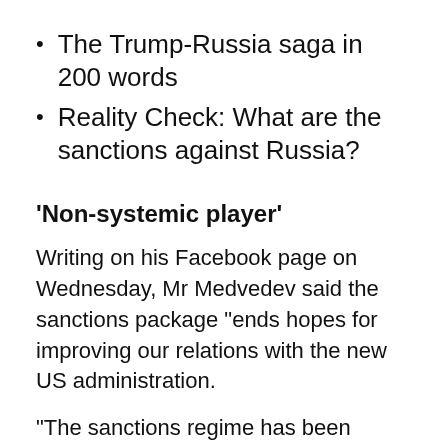The Trump-Russia saga in 200 words
Reality Check: What are the sanctions against Russia?
‘Non-systemic player’
Writing on his Facebook page on Wednesday, Mr Medvedev said the sanctions package “ends hopes for improving our relations with the new US administration.
“The sanctions regime has been codified and will remain in effect for a long time to come.